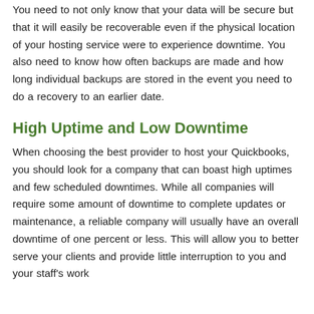You need to not only know that your data will be secure but that it will easily be recoverable even if the physical location of your hosting service were to experience downtime. You also need to know how often backups are made and how long individual backups are stored in the event you need to do a recovery to an earlier date.
High Uptime and Low Downtime
When choosing the best provider to host your Quickbooks, you should look for a company that can boast high uptimes and few scheduled downtimes. While all companies will require some amount of downtime to complete updates or maintenance, a reliable company will usually have an overall downtime of one percent or less. This will allow you to better serve your clients and provide little interruption to you and your staff's work